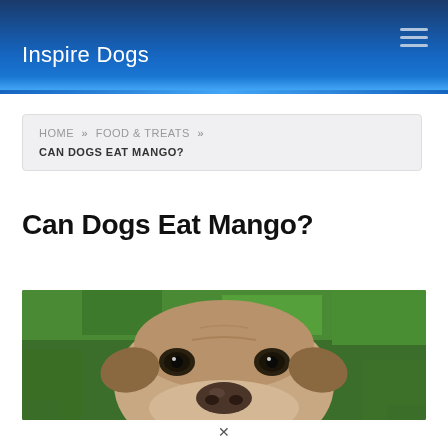Inspire Dogs
HOME » FOOD & TREATS » CAN DOGS EAT MANGO?
Can Dogs Eat Mango?
[Figure (photo): Close-up photo of a dog's face looking up at the camera from grass, showing its nose, eyes, and forehead against a green lawn background.]